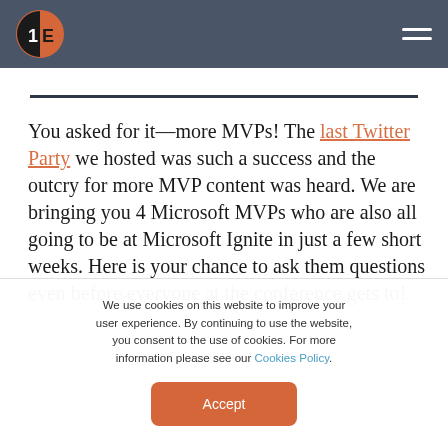1E logo and navigation header
You asked for it—more MVPs! The last Twitter Party we hosted was such a success and the outcry for more MVP content was heard. We are bringing you 4 Microsoft MVPs who are also all going to be at Microsoft Ignite in just a few short weeks. Here is your chance to ask them questions even before everyone at the conference gets to!
We use cookies on this website to improve your user experience. By continuing to use the website, you consent to the use of cookies. For more information please see our Cookies Policy.
Accept